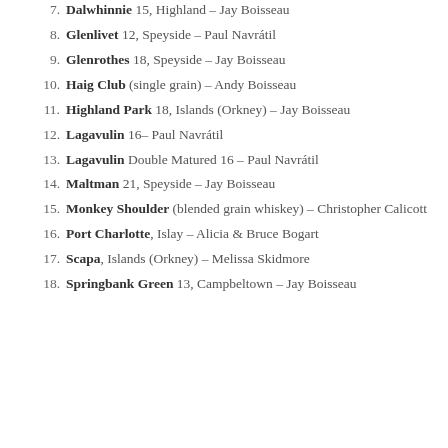7. Dalwhinnie 15, Highland – Jay Boisseau
8. Glenlivet 12, Speyside – Paul Navrátil
9. Glenrothes 18, Speyside – Jay Boisseau
10. Haig Club (single grain) – Andy Boisseau
11. Highland Park 18, Islands (Orkney) – Jay Boisseau
12. Lagavulin 16– Paul Navrátil
13. Lagavulin Double Matured 16 – Paul Navrátil
14. Maltman 21, Speyside – Jay Boisseau
15. Monkey Shoulder (blended grain whiskey) – Christopher Calicott
16. Port Charlotte, Islay – Alicia & Bruce Bogart
17. Scapa, Islands (Orkney) – Melissa Skidmore
18. Springbank Green 13, Campbeltown – Jay Boisseau